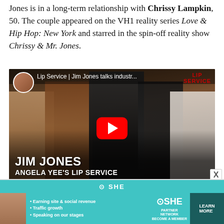Jones is in a long-term relationship with Chrissy Lampkin, 50. The couple appeared on the VH1 reality series Love & Hip Hop: New York and starred in the spin-off reality show Chrissy & Mr. Jones.
[Figure (screenshot): YouTube video thumbnail for 'Lip Service | Jim Jones talks industr...' showing Jim Jones with Angela Yee and three other women. Text overlay reads JIM JONES / ANGELA YEE'S LIP SERVICE. Red YouTube play button in center.]
[Figure (screenshot): SHE Partner Network advertisement banner with teal background, showing bullet points: Earning site & social revenue, Traffic growth, Speaking on our stages. SHE PARTNER NETWORK logo and LEARN MORE button.]